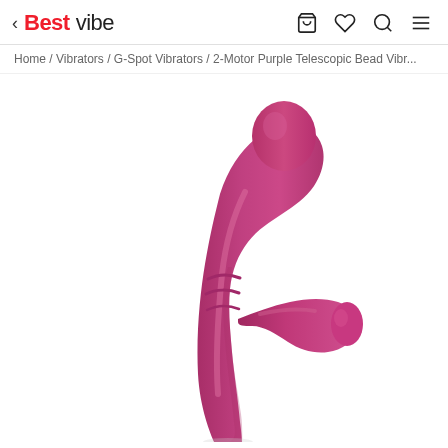< Bestvibe
Home / Vibrators / G-Spot Vibrators / 2-Motor Purple Telescopic Bead Vibr...
[Figure (photo): A purple/magenta rabbit-style vibrator product photo on white background, showing a curved shaft with a clitoral stimulator arm extending to the right side.]